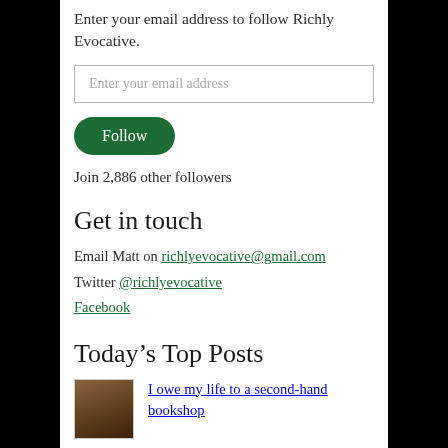Enter your email address to follow Richly Evocative.
Enter your email address
Follow
Join 2,886 other followers
Get in touch
Email Matt on richlyevocative@gmail.com
Twitter @richlyevocative
Facebook
Today’s Top Posts
[Figure (photo): Thumbnail image of a second-hand bookshop storefront]
I owe my life to a second-hand bookshop